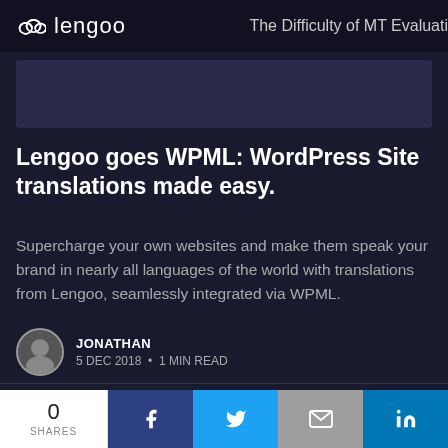lengoo   The Difficulty of MT Evaluati
[Figure (photo): Dark blue hero image banner]
Lengoo goes WPML: WordPress Site translations made easy.
Supercharge your own websites and make them speak your brand in nearly all languages of the world with translations from Lengoo, seamlessly integrated via WPML.
JONATHAN
5 DEC 2018 · 1 MIN READ
Lengoo blog © 2022
Latest Posts · Facebook · Twitter · Ghost
0 SHARES